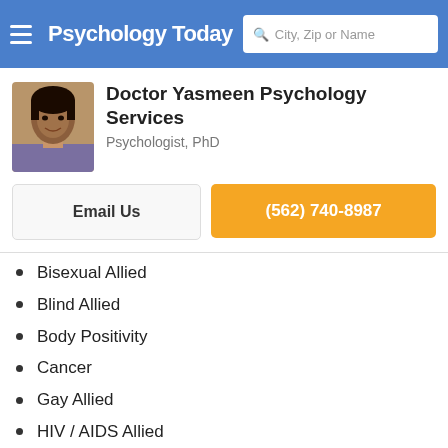Psychology Today | City, Zip or Name
Doctor Yasmeen Psychology Services
Psychologist, PhD
Email Us | (562) 740-8987
Bisexual Allied
Blind Allied
Body Positivity
Cancer
Gay Allied
HIV / AIDS Allied
Immuno-disorders
Lesbian Allied
Little Person Allied
Non-Binary Allied
Open Relationships Non-Monogamy